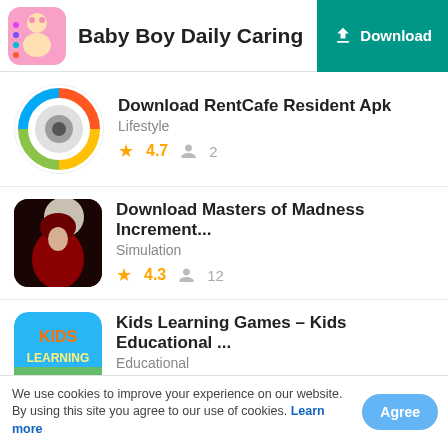Baby Boy Daily Caring
Download RentCafe Resident Apk
Lifestyle
★ 4.7  👤 2
Download Masters of Madness Increment...
Simulation
★ 4.3  👤 12
Kids Learning Games – Kids Educational ...
Educational
★  👤 61
We use cookies to improve your experience on our website. By using this site you agree to our use of cookies. Learn more